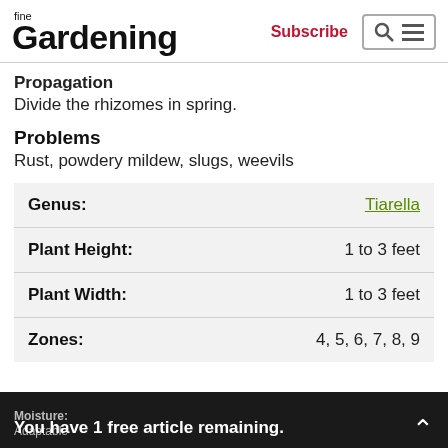fine Gardening | Subscribe
Propagation
Divide the rhizomes in spring.
Problems
Rust, powdery mildew, slugs, weevils
|  |  |
| --- | --- |
| Genus: | Tiarella |
| Plant Height: | 1 to 3 feet |
| Plant Width: | 1 to 3 feet |
| Zones: | 4, 5, 6, 7, 8, 9 |
You have 1 free article remaining. | Moisture: Adaptable